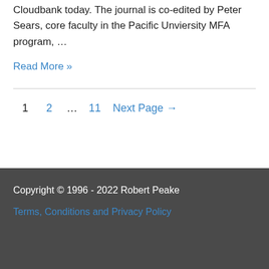Cloudbank today. The journal is co-edited by Peter Sears, core faculty in the Pacific Unviersity MFA program, …
Read More »
1  2  …  11  Next Page →
Copyright © 1996 - 2022 Robert Peake
Terms, Conditions and Privacy Policy